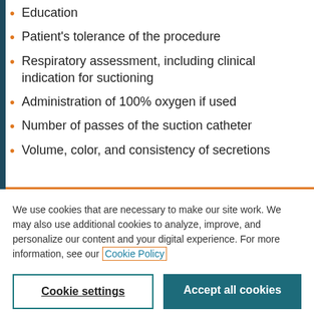Education
Patient's tolerance of the procedure
Respiratory assessment, including clinical indication for suctioning
Administration of 100% oxygen if used
Number of passes of the suction catheter
Volume, color, and consistency of secretions
We use cookies that are necessary to make our site work. We may also use additional cookies to analyze, improve, and personalize our content and your digital experience. For more information, see our Cookie Policy
Cookie settings | Accept all cookies